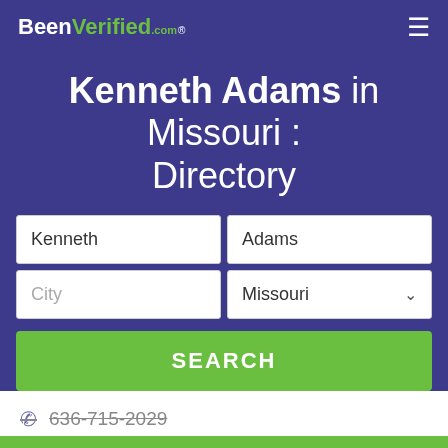BeenVerified.com
Kenneth Adams in Missouri : Directory
First name: Kenneth, Last name: Adams, City: (empty), State: Missouri
SEARCH
636-715-2029
636-517-1719